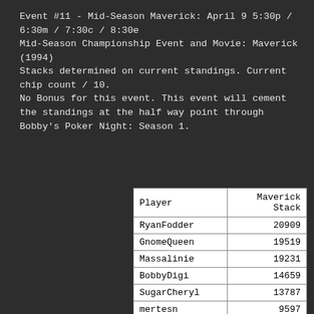Event #11 - Mid-Season Maverick: April 9 5:30p / 6:30m / 7:30c / 8:30e
Mid-Season Championship Event and Movie: Maverick (1994)
Stacks determined on current standings. Current chip count / 10.
No Bonus for this event. This event will cement the standings at the half way point through Bobby's Poker Night: Season 1.
| Player | Maverick Stack |
| --- | --- |
| RyanFodder | 20909 |
| GnomeQueen | 19519 |
| Massalinie | 19231 |
| BobbyDigi | 14659 |
| SugarCheryl | 13787 |
| mertesn | 9597 |
| cola | 9378 |
| DontCallMeKelso | 8846 |
| UPSLynx | 8287 |
| Tushon | 7129 |
| PirateNinja | 6865 |